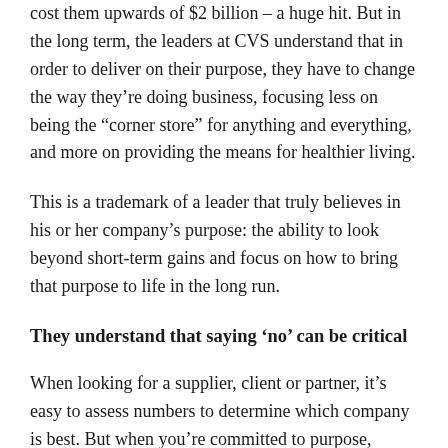cost them upwards of $2 billion – a huge hit. But in the long term, the leaders at CVS understand that in order to deliver on their purpose, they have to change the way they’re doing business, focusing less on being the “corner store” for anything and everything, and more on providing the means for healthier living.
This is a trademark of a leader that truly believes in his or her company’s purpose: the ability to look beyond short-term gains and focus on how to bring that purpose to life in the long run.
They understand that saying ‘no’ can be critical
When looking for a supplier, client or partner, it’s easy to assess numbers to determine which company is best. But when you’re committed to purpose, there’s another, more important aspect – do their values and their mission align with ours? Starbucks turns down